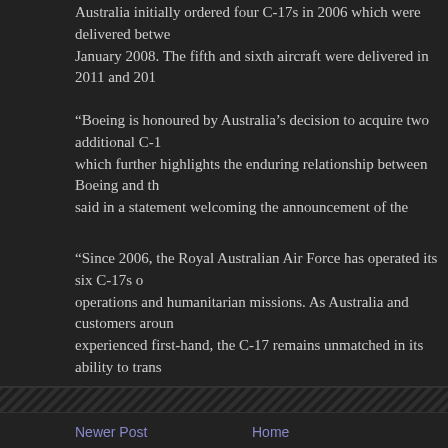Australia initially ordered four C-17s in 2006 which were delivered betwe... January 2008. The fifth and sixth aircraft were delivered in 2011 and 201...
“Boeing is honoured by Australia’s decision to acquire two additional C-1... which further highlights the enduring relationship between Boeing and th... said in a statement welcoming the announcement of the additional aircra...
“Since 2006, the Royal Australian Air Force has operated its six C-17s o... operations and humanitarian missions. As Australia and customers aroun... experienced first-hand, the C-17 remains unmatched in its ability to trans... support airdrops and aeromedical evacuations, and land and takeoff in re...
(Australian Aviation)
Posted by Michael Carter at 10:13 PM
No comments:
Post a Comment
Newer Post
Home